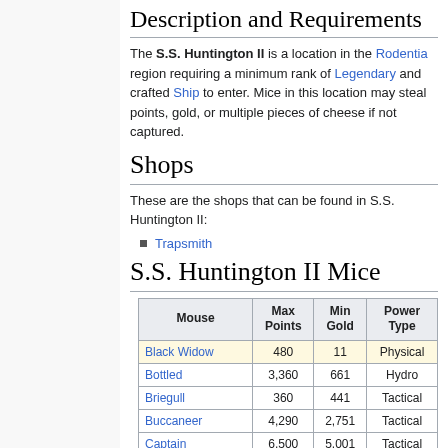Description and Requirements
The S.S. Huntington II is a location in the Rodentia region requiring a minimum rank of Legendary and crafted Ship to enter. Mice in this location may steal points, gold, or multiple pieces of cheese if not captured.
Shops
These are the shops that can be found in S.S. Huntington II:
Trapsmith
S.S. Huntington II Mice
| Mouse | Max Points | Min Gold | Power Type |
| --- | --- | --- | --- |
| Black Widow | 480 | 11 | Physical |
| Bottled | 3,360 | 661 | Hydro |
| Briegull | 360 | 441 | Tactical |
| Buccaneer | 4,290 | 2,751 | Tactical |
| Captain | 6,500 | 5,001 | Tactical |